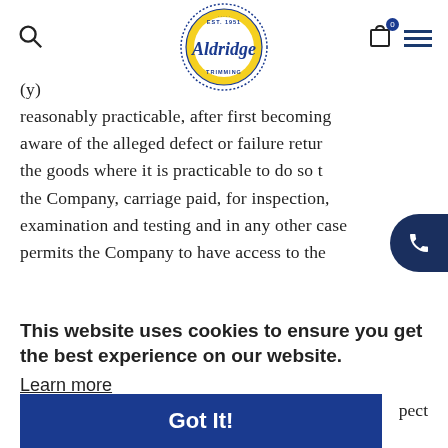Aldridge Trimming — EST. 1951
(y) reasonably practicable, after first becoming aware of the alleged defect or failure return the goods where it is practicable to do so to the Company, carriage paid, for inspection, examination and testing and in any other case permits the Company to have access to the
This website uses cookies to ensure you get the best experience on our website. Learn more
Got It!
liability of the Company shall, in all such